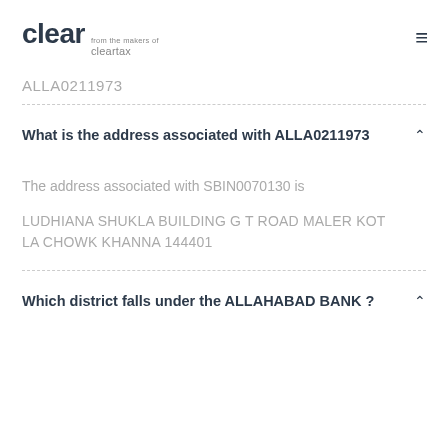clear from the makers of cleartax
ALLA0211973
What is the address associated with ALLA0211973
The address associated with SBIN0070130 is
LUDHIANA SHUKLA BUILDING G T ROAD MALER KOTLA CHOWK KHANNA 144401
Which district falls under the ALLAHABAD BANK ?